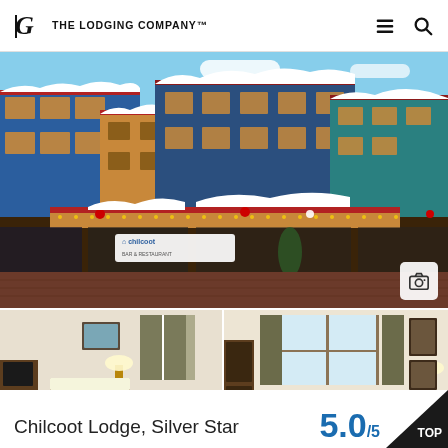The Lodging Company
[Figure (photo): Exterior of Chilcoot Lodge at Silver Star ski resort in winter, showing a colorful multi-story building with heavy snow on the rooftops, a 'Chilcoot' sign visible on the ground floor, decorated with holiday lights and garland.]
[Figure (photo): Hotel room interior showing two beds with plaid comforters, wooden furniture, dresser, TV, and curtained windows.]
[Figure (photo): Hotel suite living/dining area with wooden table, chairs, sofa, lamps, and windows.]
Chilcoot Lodge, Silver Star
5.0 /5
TOP